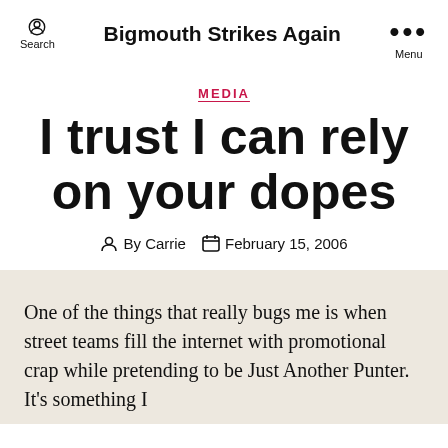Bigmouth Strikes Again
MEDIA
I trust I can rely on your dopes
By Carrie  February 15, 2006
One of the things that really bugs me is when street teams fill the internet with promotional crap while pretending to be Just Another Punter. It's something I